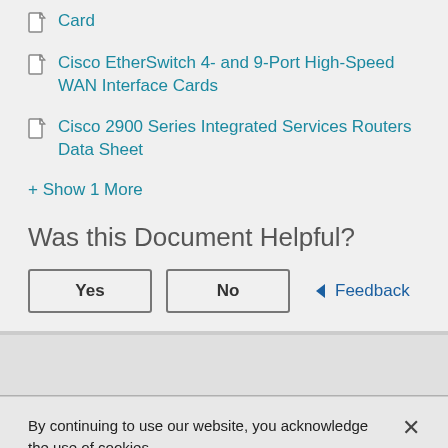Card
Cisco EtherSwitch 4- and 9-Port High-Speed WAN Interface Cards
Cisco 2900 Series Integrated Services Routers Data Sheet
+ Show 1 More
Was this Document Helpful?
Yes   No   ◄ Feedback
By continuing to use our website, you acknowledge the use of cookies.
Privacy Statement >   Change Settings >